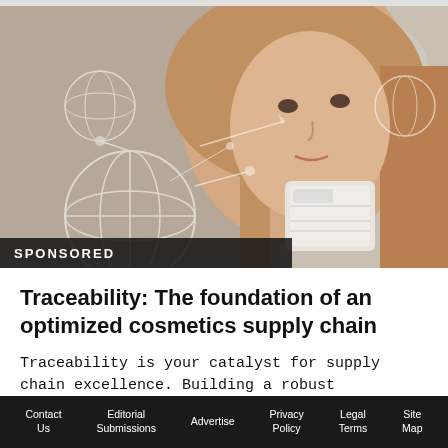[Figure (photo): Young woman in a store holding a cosmetics product box, with digital supply chain / globe network graphics overlaid on the left side of the image]
SPONSORED
Traceability: The foundation of an optimized cosmetics supply chain
Traceability is your catalyst for supply chain excellence. Building a robust traceability
Contact Us   Editorial Submissions   Advertise   Privacy Policy   Legal Terms   Site Map